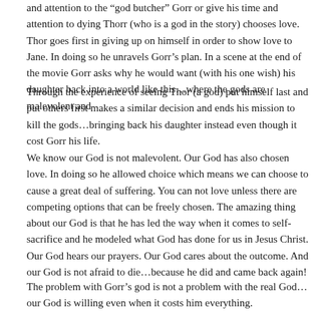and attention to the “god butcher” Gorr or give his time and attention to dying Thorr (who is a god in the story) chooses love. Thor goes first in giving up on himself in order to show love to Jane. In doing so he unravels Gorr’s plan. In a scene at the end of the movie Gorr asks why he would want (with his one wish) his daughter back into a world like this…where the gods are malevolent and
Through the experience of seeing Thor (a god) put himself last and put others first makes a similar decision and ends his mission to kill the gods…bringing back his daughter instead even though it cost Gorr his life.
We know our God is not malevolent. Our God has also chosen love. In doing so he allowed choice which means we can choose to cause a great deal of suffering. You can not love unless there are competing options that can be freely chosen. The amazing thing about our God is that he has led the way when it comes to self-sacrifice and he modeled what God has done for us in Jesus Christ. Our God hears our prayers. Our God cares about the outcome. And our God is not afraid to die…because he did and came back again!
The problem with Gorr’s god is not a problem with the real God…our God is willing even when it costs him everything.